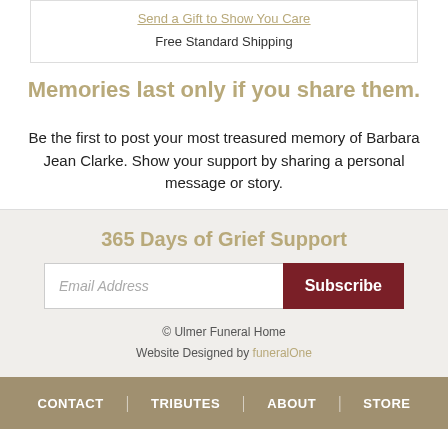Send a Gift to Show You Care
Free Standard Shipping
Memories last only if you share them.
Be the first to post your most treasured memory of Barbara Jean Clarke. Show your support by sharing a personal message or story.
365 Days of Grief Support
Email Address
Subscribe
© Ulmer Funeral Home
Website Designed by funeralOne
CONTACT | TRIBUTES | ABOUT | STORE